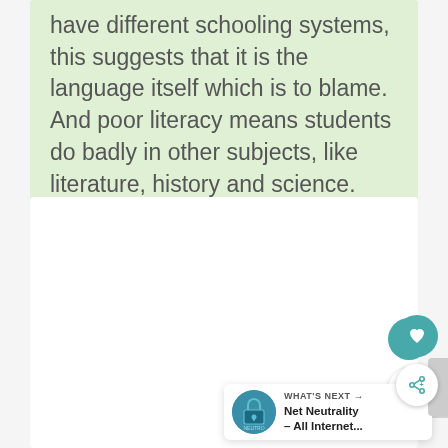have different schooling systems, this suggests that it is the language itself which is to blame. And poor literacy means students do badly in other subjects, like literature, history and science.
[Figure (other): White content box with heart button (teal circle with heart icon), share button (white circle with share icon), sidebar tab, and a 'What's Next' promotional card showing a lock icon and text 'Net Neutrality – All Internet...']